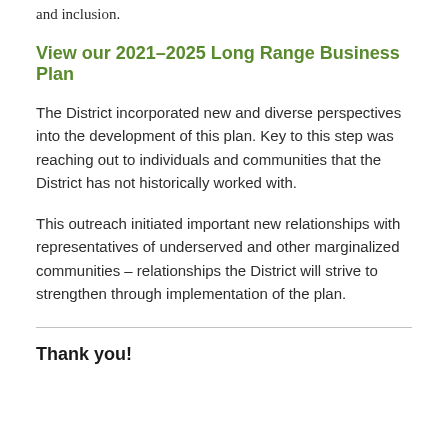and inclusion.
View our 2021–2025 Long Range Business Plan
The District incorporated new and diverse perspectives into the development of this plan. Key to this step was reaching out to individuals and communities that the District has not historically worked with.
This outreach initiated important new relationships with representatives of underserved and other marginalized communities – relationships the District will strive to strengthen through implementation of the plan.
Thank you!